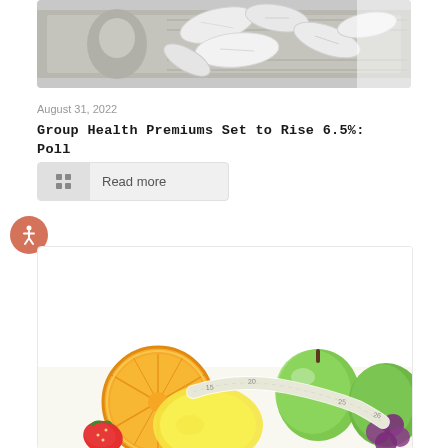[Figure (photo): Pills and capsules scattered on US dollar bills, black and white photo]
August 31, 2022
Group Health Premiums Set to Rise 6.5%: Poll
Read more
[Figure (photo): Colorful fresh fruits including orange slices, lemon, green apples, strawberries, and grapes with a measuring tape]